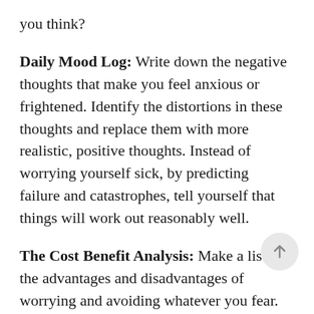you think?
Daily Mood Log: Write down the negative thoughts that make you feel anxious or frightened. Identify the distortions in these thoughts and replace them with more realistic, positive thoughts. Instead of worrying yourself sick, by predicting failure and catastrophes, tell yourself that things will work out reasonably well.
The Cost Benefit Analysis: Make a list of the advantages and disadvantages of worrying and avoiding whatever you fear. Weigh